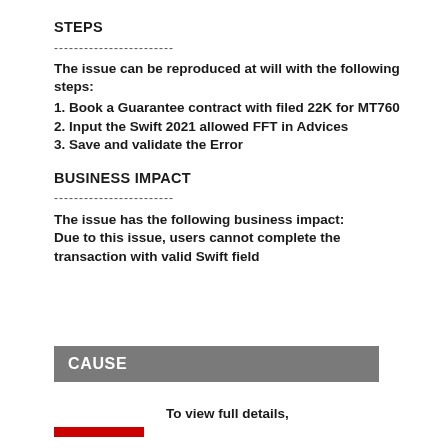STEPS
------------------------
The issue can be reproduced at will with the following steps:
1. Book a Guarantee contract with filed 22K for MT760
2. Input the Swift 2021 allowed FFT in Advices
3. Save and validate the Error
BUSINESS IMPACT
------------------------
The issue has the following business impact:
Due to this issue, users cannot complete the transaction with valid Swift field
CAUSE
To view full details,